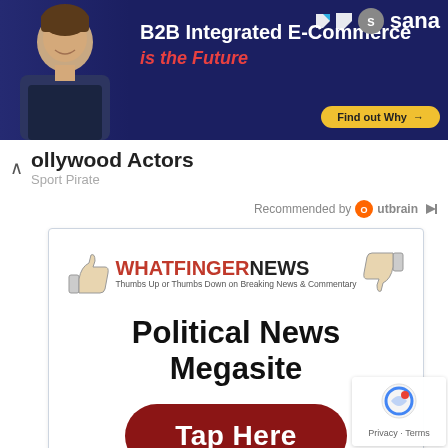[Figure (screenshot): Top banner advertisement for Sana B2B Integrated E-Commerce with man photo, text 'B2B Integrated E-Commerce is the Future' and 'Find out Why' button with Sana logo]
ollywood Actors
Sport Pirate
Recommended by Outbrain
[Figure (screenshot): WhatfingerNews advertisement with logo, thumbs up/down icons, text 'Thumbs Up or Thumbs Down on Breaking News & Commentary', headline 'Political News Megasite', and red 'Tap Here' button]
Privacy · Terms